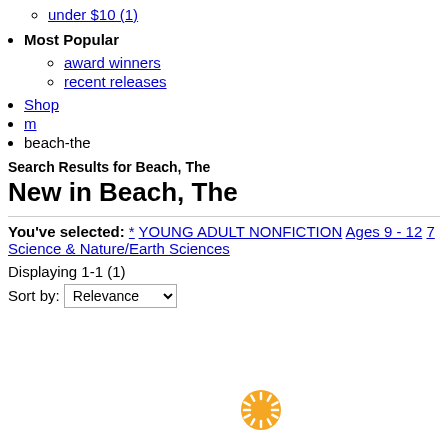under $10 (1)
Most Popular
award winners
recent releases
Shop
m
beach-the
Search Results for Beach, The
New in Beach, The
You've selected: * YOUNG ADULT NONFICTION Ages 9 - 12 7 Science & Nature/Earth Sciences
Displaying 1-1 (1)
Sort by: Relevance